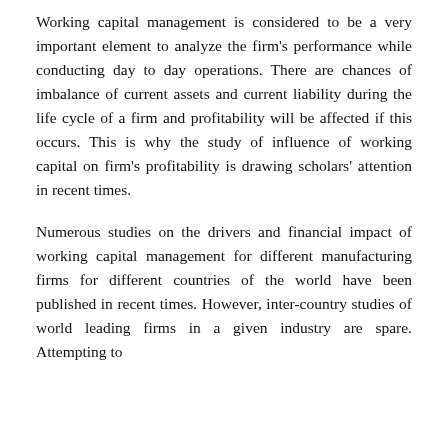Working capital management is considered to be a very important element to analyze the firm's performance while conducting day to day operations. There are chances of imbalance of current assets and current liability during the life cycle of a firm and profitability will be affected if this occurs. This is why the study of influence of working capital on firm's profitability is drawing scholars' attention in recent times.
Numerous studies on the drivers and financial impact of working capital management for different manufacturing firms for different countries of the world have been published in recent times. However, inter-country studies of world leading firms in a given industry are spare. Attempting to